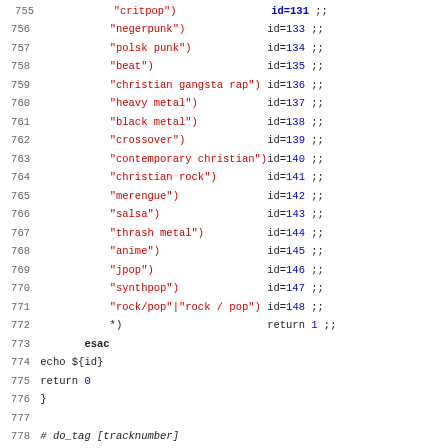Shell script source code lines 755-787 showing genre ID assignments and function definitions for do_tag